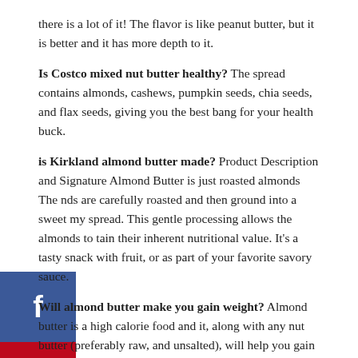there is a lot of it! The flavor is like peanut butter, but it is better and it has more depth to it.
Is Costco mixed nut butter healthy? The spread contains almonds, cashews, pumpkin seeds, chia seeds, and flax seeds, giving you the best bang for your health buck.
is Kirkland almond butter made? Product Description and Signature Almond Butter is just roasted almonds The nds are carefully roasted and then ground into a sweet my spread. This gentle processing allows the almonds to tain their inherent nutritional value. It's a tasty snack with fruit, or as part of your favorite savory sauce.
Will almond butter make you gain weight? Almond butter is a high calorie food and it, along with any nut butter (preferably raw, and unsalted), will help you gain a healthy bit of weight in a short amount of time. Try to eat several tablespoons throughout the day,